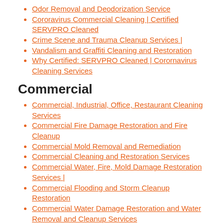Odor Removal and Deodorization Service
Cororavirus Commercial Cleaning | Certified SERVPRO Cleaned
Crime Scene and Trauma Cleanup Services |
Vandalism and Graffiti Cleaning and Restoration
Why Certified: SERVPRO Cleaned | Corornavirus Cleaning Services
Commercial
Commercial, Industrial, Office, Restaurant Cleaning Services
Commercial Fire Damage Restoration and Fire Cleanup
Commercial Mold Removal and Remediation
Commercial Cleaning and Restoration Services
Commercial Water, Fire, Mold Damage Restoration Services |
Commercial Flooding and Storm Cleanup Restoration
Commercial Water Damage Restoration and Water Removal and Cleanup Services
Large Storm and Flooding Cleanup
Community